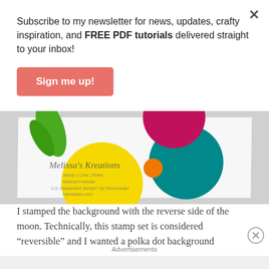Subscribe to my newsletter for news, updates, crafty inspiration, and FREE PDF tutorials delivered straight to your inbox!
Sign me up!
[Figure (photo): Photo of a colorful card with large polka dot circles (magenta, teal, yellow, green) and a business card reading 'Melissa's Kreations' with contact details, displayed at an angle on a gray surface.]
I stamped the background with the reverse side of the moon. Technically, this stamp set is considered “reversible” and I wanted a polka dot background
Advertisements